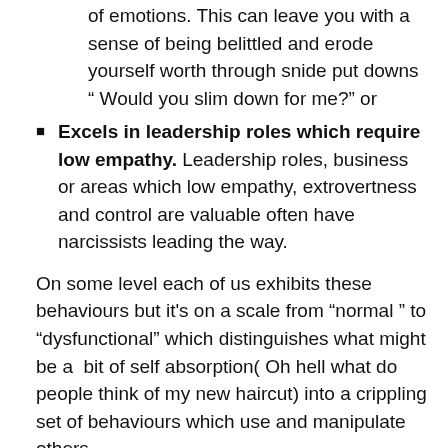of emotions. This can leave you with a sense of being belittled and erode yourself worth through snide put downs " Would you slim down for me?" or
Excels in leadership roles which require low empathy. Leadership roles, business or areas which low empathy, extrovertness and control are valuable often have narcissists leading the way.
On some level each of us exhibits these behaviours but it's on a scale from “normal ” to “dysfunctional” which distinguishes what might be a  bit of self absorption( Oh hell what do people think of my new haircut) into a crippling set of behaviours which use and manipulate others.
As with any disorder the origins are usually formed from a mix of genetics, childhood experiences/trauma and conduct. The narcissistic is formed in childhood and